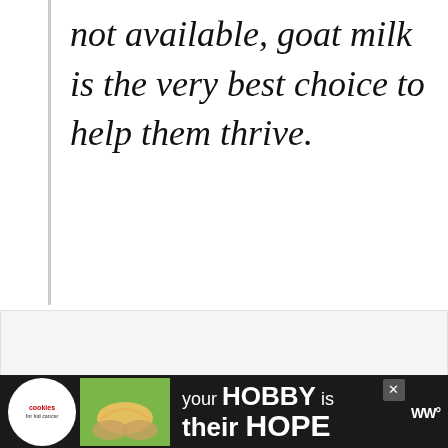not available, goat milk is the very best choice to help them thrive.
[Figure (photo): A large white/light content area with social interaction buttons (heart icon with teal background showing count of 2, and a share button), plus a 'What's Next' card showing a small dog photo and text 'How to Care for Your Agi...']
[Figure (infographic): Advertisement bar at the bottom: dark background with cookies for cancer logo, green hands holding heart image, text 'your HOBBY is their HOPE', close button, and WW logo]